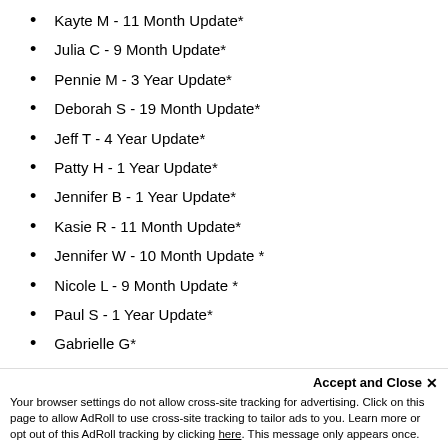Kayte M - 11 Month Update*
Julia C - 9 Month Update*
Pennie M - 3 Year Update*
Deborah S - 19 Month Update*
Jeff T - 4 Year Update*
Patty H - 1 Year Update*
Jennifer B - 1 Year Update*
Kasie R - 11 Month Update*
Jennifer W - 10 Month Update *
Nicole L - 9 Month Update *
Paul S - 1 Year Update*
Gabrielle G*
Karina S - Three Year Update*
Jamie D - 8 Month Update*
Jennifer N - 9 Month Update*
Sara and Bill C - 1 Year Update*
Accept and Close ✕ Your browser settings do not allow cross-site tracking for advertising. Click on this page to allow AdRoll to use cross-site tracking to tailor ads to you. Learn more or opt out of this AdRoll tracking by clicking here. This message only appears once.